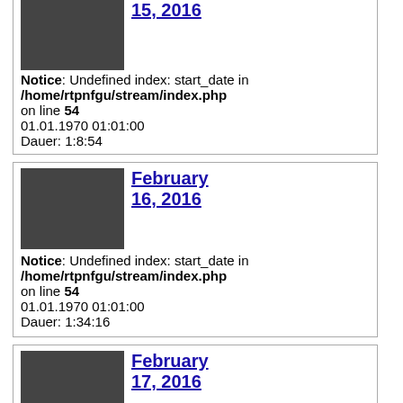February 15, 2016
Notice: Undefined index: start_date in /home/rtpnfgu/stream/index.php on line 54
01.01.1970 01:01:00
Dauer: 1:8:54
February 16, 2016
Notice: Undefined index: start_date in /home/rtpnfgu/stream/index.php on line 54
01.01.1970 01:01:00
Dauer: 1:34:16
February 17, 2016
Notice: